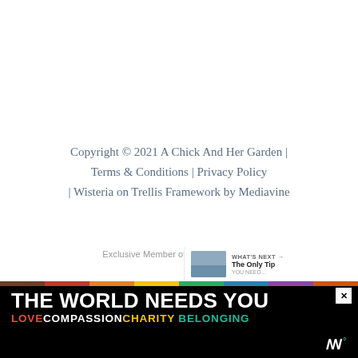Copyright © 2021 A Chick And Her Garden | Terms & Conditions | Privacy Policy | Wisteria on Trellis Framework by Mediavine
Exclusive Member of Mediavine Home
[Figure (other): Share/social button icon (circle with share symbol)]
[Figure (other): What's Next panel with thumbnail and text: The Only Tip]
[Figure (other): Advertisement banner: THE WORLD NEEDS YOU with rainbow LOVE COMPASSION CHARITY BELONGING text, close button, and WW logo]